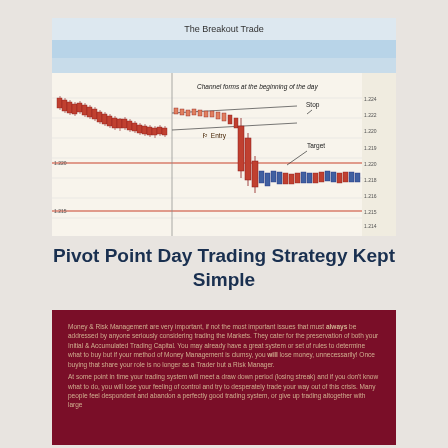[Figure (screenshot): Trading chart screenshot titled 'The Breakout Trade' showing candlestick price action with annotations: 'Channel forms at the beginning of the day', 'Stop', 'Entry', and 'Target' labels with arrows pointing to key price levels on the chart.]
Pivot Point Day Trading Strategy Kept Simple
Money & Risk Management are very important, if not the most important issues that must always be addressed by anyone seriously considering trading the Markets. They cater for the preservation of both your Initial & Accumulated Trading Capital. You may already have a great system or set of rules to determine what to buy but if your method of Money Management is clumsy, you will lose money, unnecessarily! Once buying that share your role is no longer as a Trader but a Risk Manager. At some point in time your trading system will meet a draw down period (losing streak) and if you don't know what to do, you will lose your feeling of control and try to desperately trade your way out of this crisis. Many people feel despondent and abandon a perfectly good trading system, or give up trading altogether with large